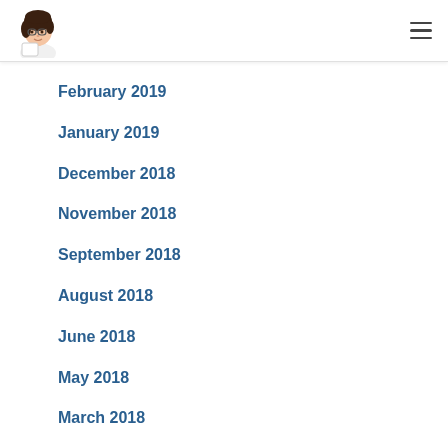[Figure (illustration): Cartoon avatar of a woman with dark hair and glasses, holding something white, used as a blog logo]
February 2019
January 2019
December 2018
November 2018
September 2018
August 2018
June 2018
May 2018
March 2018
January 2018